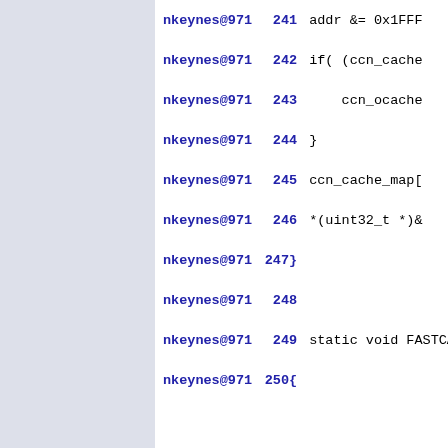| Author | Line | Code |
| --- | --- | --- |
| nkeynes@971 | 241 | addr &= 0x1FFF |
| nkeynes@971 | 242 | if( (ccn_cache |
| nkeynes@971 | 243 |     ccn_ocache |
| nkeynes@971 | 244 | } |
| nkeynes@971 | 245 | ccn_cache_map[ |
| nkeynes@971 | 246 | *(uint32_t *)& |
| nkeynes@971 | 247} |  |  |
| nkeynes@971 | 248 |  |
| nkeynes@971 | 249 | static void FASTCA |
| nkeynes@971 | 250{ |  |